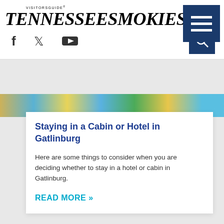Tennessee Smokies Visitors Guide
[Figure (screenshot): Colorful outdoor resort or waterpark scene]
Staying in a Cabin or Hotel in Gatlinburg
Here are some things to consider when you are deciding whether to stay in a hotel or cabin in Gatlinburg.
READ MORE »